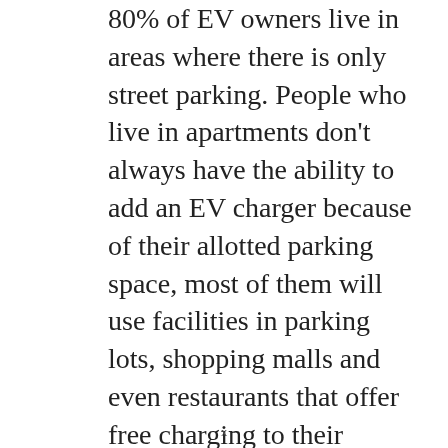80% of EV owners live in areas where there is only street parking. People who live in apartments don't always have the ability to add an EV charger because of their allotted parking space, most of them will use facilities in parking lots, shopping malls and even restaurants that offer free charging to their customers. I have been charging my EV for the last ten months without a garage or off-street parking and this is how I did it.
x